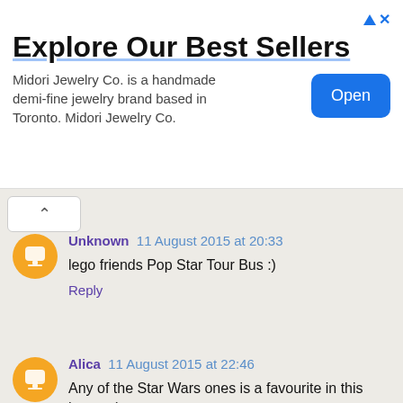[Figure (other): Advertisement banner for Midori Jewelry Co. with title 'Explore Our Best Sellers', body text, and an Open button.]
Unknown 11 August 2015 at 20:33
lego friends Pop Star Tour Bus :)
Reply
Alica 11 August 2015 at 22:46
Any of the Star Wars ones is a favourite in this house :)
Reply
Unknown 12 August 2015 at 01:08
Avengers lego!
Reply